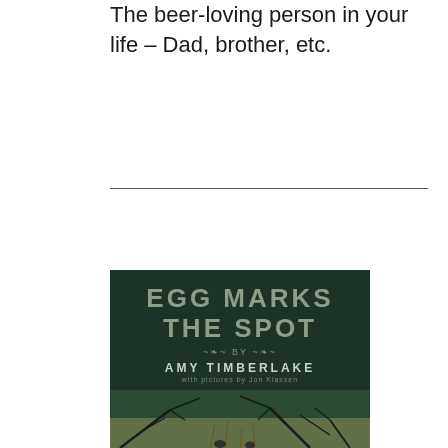The beer-loving person in your life – Dad, brother, etc.
[Figure (illustration): Book cover for 'Egg Marks the Spot' by Amy Timberlake, with pictures by Jon Klassen. Dark green cover with large stylized title text and author name, with illustrated branches/nature scene at the bottom.]